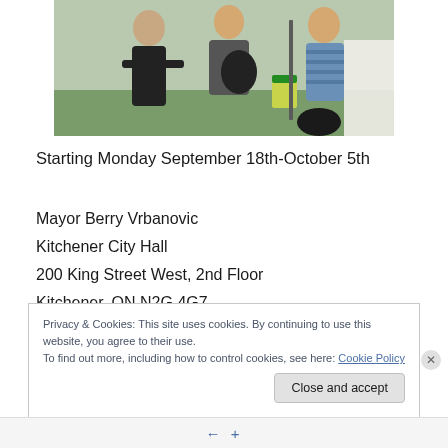[Figure (photo): Group of people standing outdoors, partial top portion visible, cropped at bottom of photo]
Starting Monday September 18th-October 5th
Mayor Berry Vrbanovic
Kitchener City Hall
200 King Street West, 2nd Floor
Kitchener, ON N2G 4G7
Canada
Phone: 519-741-2300
Privacy & Cookies: This site uses cookies. By continuing to use this website, you agree to their use.
To find out more, including how to control cookies, see here: Cookie Policy